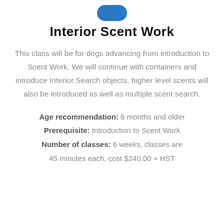[Figure (logo): Blue pill/capsule shape icon at top of page]
Interior Scent Work
This class will be for dogs advancing from introduction to Scent Work. We will continue with containers and introduce Interior Search objects, higher level scents will also be introduced as well as multiple scent search.
Age recommendation: 6 months and older
Prerequisite: Introduction to Scent Work
Number of classes: 6 weeks, classes are 45 minutes each, cost $240.00 + HST